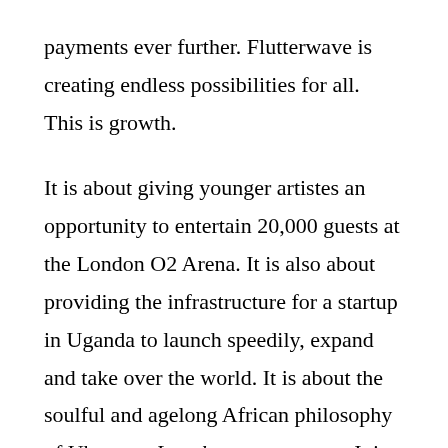payments ever further. Flutterwave is creating endless possibilities for all. This is growth.
It is about giving younger artistes an opportunity to entertain 20,000 guests at the London O2 Arena. It is also about providing the infrastructure for a startup in Uganda to launch speedily, expand and take over the world. It is about the soulful and agelong African philosophy of Ubuntu—I am because you are. It is about collaboration and excellence.